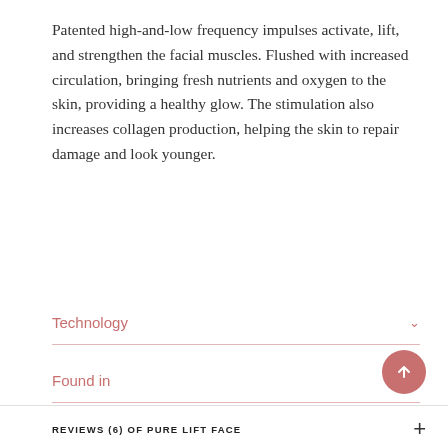Patented high-and-low frequency impulses activate, lift, and strengthen the facial muscles. Flushed with increased circulation, bringing fresh nutrients and oxygen to the skin, providing a healthy glow. The stimulation also increases collagen production, helping the skin to repair damage and look younger.
Technology
Found in
Reviews
Conductor
REVIEWS (6) OF PURE LIFT FACE